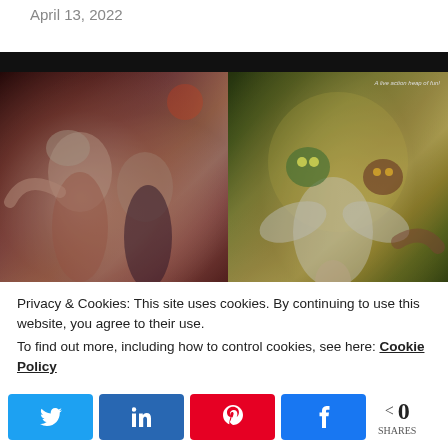April 13, 2022
[Figure (photo): Two movie images side by side: left shows a dancing couple in dim reddish light (resembling Dirty Dancing); right shows cartoon/illustrated monsters attacking people with text 'A live action heap of fun!']
Privacy & Cookies: This site uses cookies. By continuing to use this website, you agree to their use.
To find out more, including how to control cookies, see here: Cookie Policy
0 SHARES